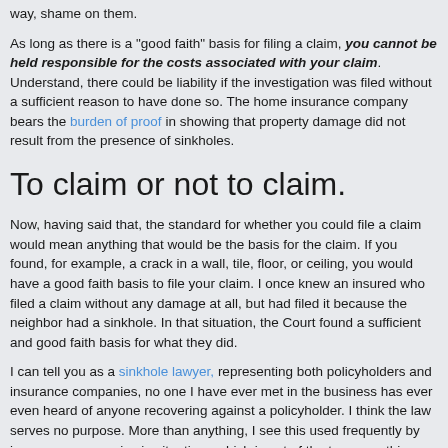way, shame on them.
As long as there is a “good faith” basis for filing a claim, you cannot be held responsible for the costs associated with your claim. Understand, there could be liability if the investigation was filed without a sufficient reason to have done so. The home insurance company bears the burden of proof in showing that property damage did not result from the presence of sinkholes.
To claim or not to claim.
Now, having said that, the standard for whether you could file a claim would mean anything that would be the basis for the claim. If you found, for example, a crack in a wall, tile, floor, or ceiling, you would have a good faith basis to file your claim. I once knew an insured who filed a claim without any damage at all, but had filed it because the neighbor had a sinkhole. In that situation, the Court found a sufficient and good faith basis for what they did.
I can tell you as a sinkhole lawyer, representing both policyholders and insurance companies, no one I have ever met in the business has ever even heard of anyone recovering against a policyholder. I think the law serves no purpose. More than anything, I see this used frequently by insurance companies in situations which is out of the two something